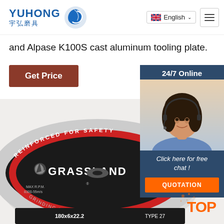[Figure (logo): YUHONG 宇弘磨具 logo with blue wave/drop icon]
and Alpase K100S cast aluminum tooling plate.
Get Price
[Figure (photo): GRASSLAND brand grinding disc/wheel product photo. Black disc with red stripe, labeled: REINFORCED FOR SAFETY, GRINDING FOR ST/STEEL, ISO 9001, A24R-BF, MAX R.P.M, 180x6x22.2, TYPE 27]
[Figure (photo): 24/7 Online chat agent - woman with headset smiling. Panel includes Click here for free chat! and QUOTATION button]